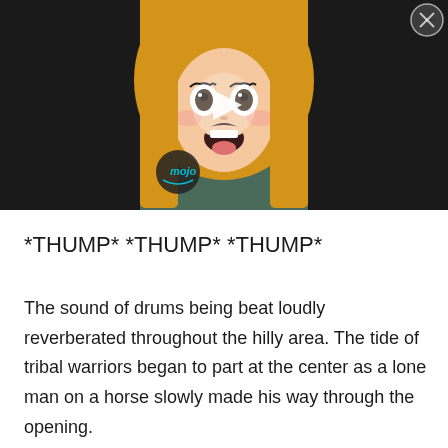[Figure (screenshot): Anime-style illustration of a blonde girl with wide open mouth and eyes, appearing shocked or singing. A play button triangle is overlaid in the center. A circular 'mojo' logo watermark is in the lower-left of the image. A close/X button is in the top-right corner. The image has a black letterbox bar at the top.]
*THUMP* *THUMP* *THUMP*
The sound of drums being beat loudly reverberated throughout the hilly area. The tide of tribal warriors began to part at the center as a lone man on a horse slowly made his way through the opening.